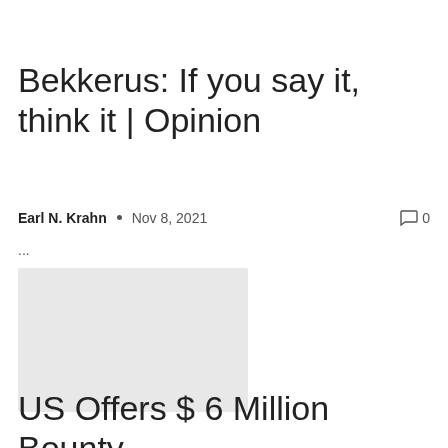Bekkerus: If you say it, think it | Opinion
Earl N. Krahn  •  Nov 8, 2021   💬 0
...
[Figure (photo): Placeholder gray image rectangle]
US Offers $ 6 Million Bounty